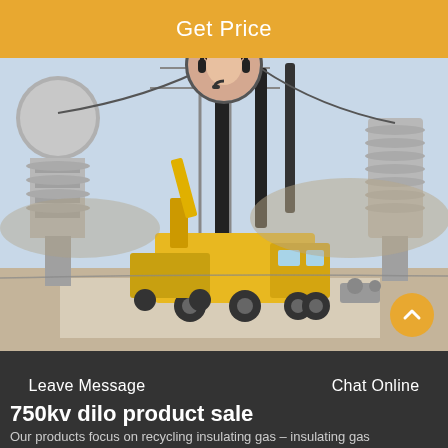Get Price
[Figure (photo): Yellow utility truck parked at a high-voltage electrical substation with large insulators and transmission line equipment]
750kv dilo product sale
Our products focus on recycling insulating gas – insulating gas
Leave Message   Chat Online